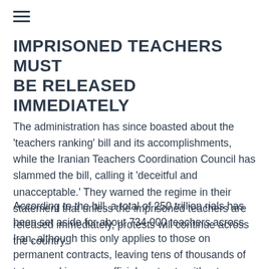IMPRISONED TEACHERS MUST BE RELEASED IMMEDIATELY
The administration has since boasted about the 'teachers ranking' bill and its accomplishments, while the Iranian Teachers Coordination Council has slammed the bill, calling it 'deceitful and unacceptable.' They warned the regime in their statement that unless the imprisoned teachers are released immediately, protests will continue across the country.
According to the bill, a total of 250 trillion rials has been set aside for about 734,000 teachers across Iran, although this only applies to those on permanent contracts, leaving tens of thousands of tutors working on unofficial contracts without access to funds.
"The bill also stipulates that the budget will be